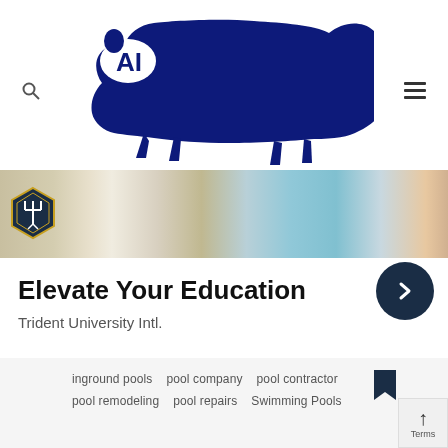[Figure (logo): Dark navy blue bear silhouette with 'AI' letters visible beneath it, forming a university logo on white background]
[Figure (photo): Banner photo showing classroom/educational scene with people and colorful items on a desk; small shield/crest badge on left side]
Elevate Your Education
Trident University Intl.
inground pools   pool company   pool contractor
pool remodeling   pool repairs   Swimming Pools